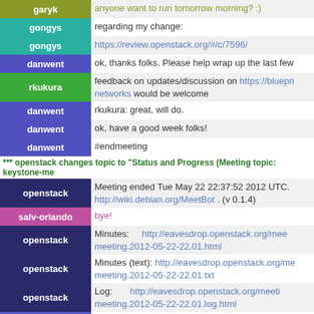garyk | anyone want to run tomorrow morning? :)
gongys | regarding my change:
gongys | https://review.openstack.org/#/c/7596/
danwent | ok, thanks folks. Please help wrap up the last few
rkukura | feedback on updates/discussion on https://bluepri... networks would be welcome
danwent | rkukura: great, will do.
danwent | ok, have a good week folks!
danwent | #endmeeting
*** openstack changes topic to "Status and Progress (Meeting topic: keystone-me
openstack | Meeting ended Tue May 22 22:37:52 2012 UTC. http://wiki.debian.org/MeetBot . (v 0.1.4)
salv-orlando | bye!
openstack | Minutes: http://eavesdrop.openstack.org/mee meeting.2012-05-22-22.01.html
openstack | Minutes (text): http://eavesdrop.openstack.org/me meeting.2012-05-22-22.01.txt
openstack | Log: http://eavesdrop.openstack.org/meeti meeting.2012-05-22-22.01.log.html
danwent | garyk, run where?
*** reed has joined #openstack-meeting
*** edgarmagana has quit IRC